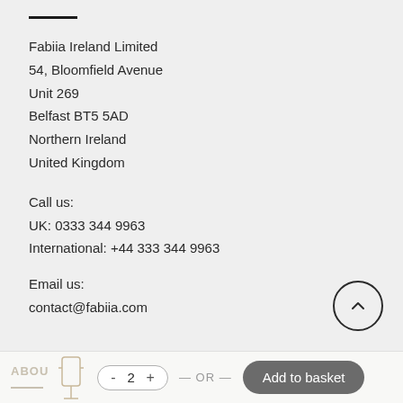Fabiia Ireland Limited
54, Bloomfield Avenue
Unit 269
Belfast BT5 5AD
Northern Ireland
United Kingdom
Call us:
UK: 0333 344 9963
International: +44 333 344 9963
Email us:
contact@fabiia.com
ABOUT  -  2  +  — OR —  Add to basket